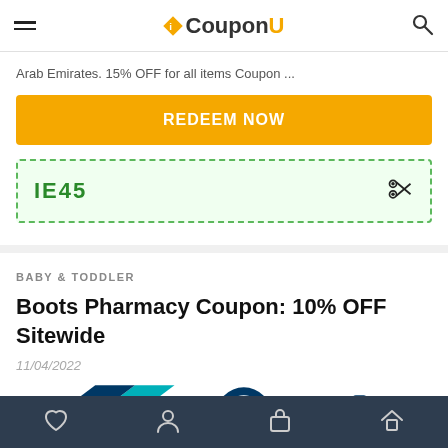iCouponU
Arab Emirates. 15% OFF for all items Coupon ...
REDEEM NOW
IE45
BABY & TODDLER
Boots Pharmacy Coupon: 10% OFF Sitewide
11/04/2022
[Figure (logo): Boots Pharmacy and other brand logos partially visible]
Navigation bar with heart, person, bag, and home icons